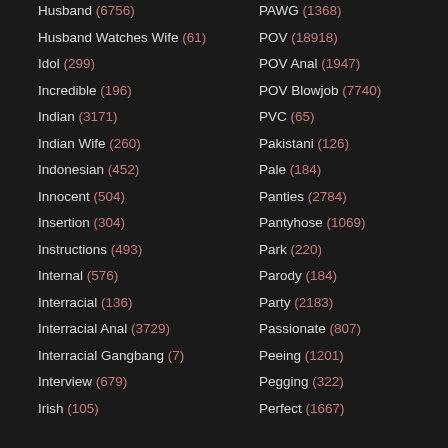Husband (6756)
Husband Watches Wife (61)
Idol (299)
Incredible (196)
Indian (3171)
Indian Wife (260)
Indonesian (452)
Innocent (504)
Insertion (304)
Instructions (493)
Internal (576)
Interracial (136)
Interracial Anal (3729)
Interracial Gangbang (7)
Interview (679)
Irish (105)
PAWG (1368)
POV (18918)
POV Anal (1947)
POV Blowjob (7740)
PVC (65)
Pakistani (126)
Pale (184)
Panties (2784)
Pantyhose (1069)
Park (220)
Parody (184)
Party (2183)
Passionate (807)
Peeing (1201)
Pegging (322)
Perfect (1667)